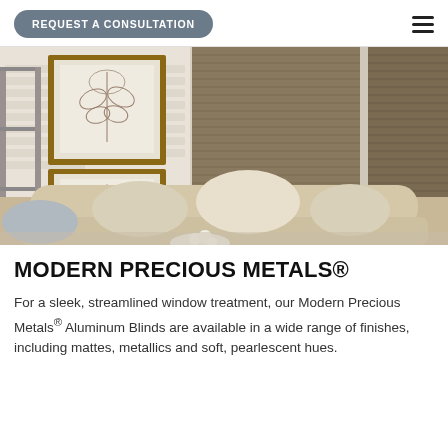REQUEST A CONSULTATION
[Figure (photo): Interior room scene with a beige sofa and decorative pillows in the foreground, framed botanical artwork on a white brick wall to the left, and two large windows with brown aluminum horizontal blinds (Modern Precious Metals style) covering most of the window area.]
MODERN PRECIOUS METALS®
For a sleek, streamlined window treatment, our Modern Precious Metals® Aluminum Blinds are available in a wide range of finishes, including mattes, metallics and soft, pearlescent hues.